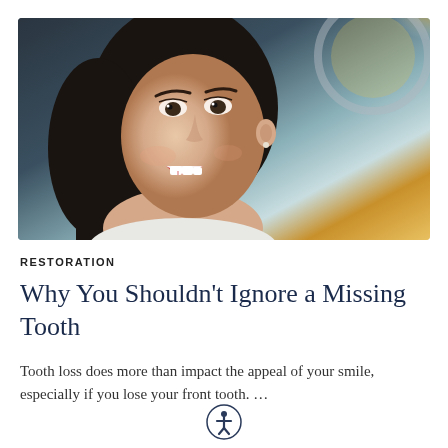[Figure (photo): A smiling young woman with dark hair sitting in a dental chair, photographed from the shoulders up. A dental light is visible in the background with warm golden glow.]
RESTORATION
Why You Shouldn't Ignore a Missing Tooth
Tooth loss does more than impact the appeal of your smile, especially if you lose your front tooth. …